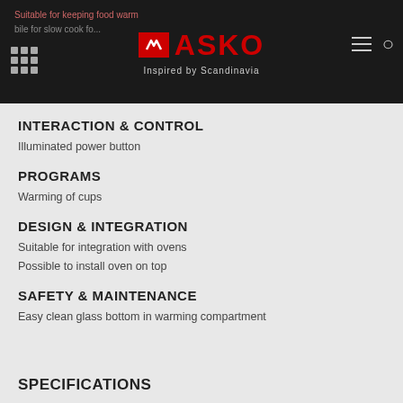ASKO — Inspired by Scandinavia
INTERACTION & CONTROL
Illuminated power button
PROGRAMS
Warming of cups
DESIGN & INTEGRATION
Suitable for integration with ovens
Possible to install oven on top
SAFETY & MAINTENANCE
Easy clean glass bottom in warming compartment
SPECIFICATIONS